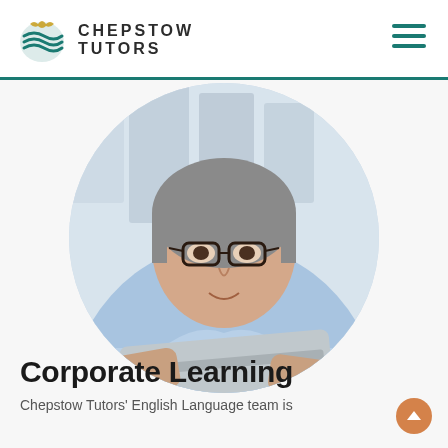CHEPSTOW TUTORS
[Figure (photo): Middle-aged man wearing glasses and a light blue shirt, leaning over a laptop computer, photographed in a circular crop against a blurred office/library background.]
Corporate Learning
Chepstow Tutors' English Language team is